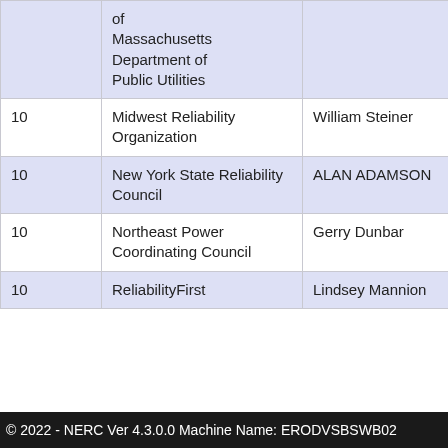|  | Organization | Name |  |
| --- | --- | --- | --- |
|  | of Massachusetts Department of Public Utilities |  |  |
| 10 | Midwest Reliability Organization | William Steiner |  |
| 10 | New York State Reliability Council | ALAN ADAMSON |  |
| 10 | Northeast Power Coordinating Council | Gerry Dunbar |  |
| 10 | ReliabilityFirst | Lindsey Mannion |  |
© 2022 - NERC Ver 4.3.0.0 Machine Name: ERODVSBSWB02